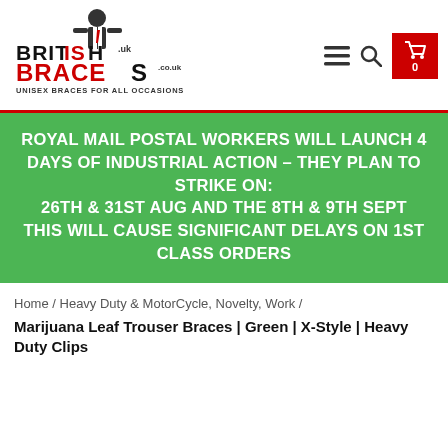[Figure (logo): British Braces .co.uk logo with man figure, black and red text, 'UNISEX BRACES FOR ALL OCCASIONS' tagline]
ROYAL MAIL POSTAL WORKERS WILL LAUNCH 4 DAYS OF INDUSTRIAL ACTION – THEY PLAN TO STRIKE ON:
26TH & 31ST AUG AND THE 8TH & 9TH SEPT
THIS WILL CAUSE SIGNIFICANT DELAYS ON 1ST CLASS ORDERS
Home / Heavy Duty & MotorCycle, Novelty, Work /
Marijuana Leaf Trouser Braces | Green | X-Style | Heavy Duty Clips